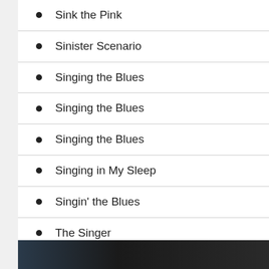Sink the Pink
Sinister Scenario
Singing the Blues
Singing the Blues
Singing the Blues
Singing in My Sleep
Singin' the Blues
The Singer
Sing, Sing, Sing
[Figure (photo): Partial photo strip at bottom of page, dark background with partial image visible]